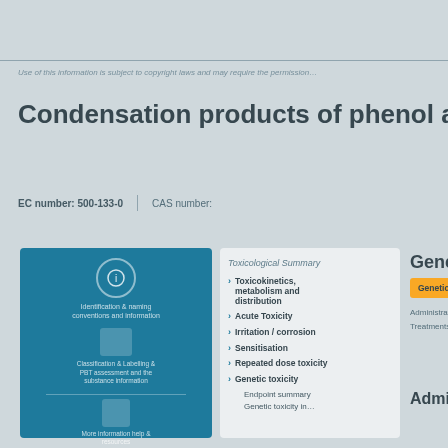Use of this information is subject to copyright laws and may require the permission…
Condensation products of phenol and sa…
EC number: 500-133-0 | CAS number:
[Figure (infographic): Blue information panel with icons for: identification & naming conventions and information; Classification & Labelling & PBT assessment and the substance information; More information help & resources]
Toxicological Summary
› Toxicokinetics, metabolism and distribution
› Acute Toxicity
› Irritation / corrosion
› Sensitisation
› Repeated dose toxicity
› Genetic toxicity
  Endpoint summary
  Genetic toxicity in…
Genetic tox…
Genetic summ…
Administration &…
Treatments routes…
Administrat…